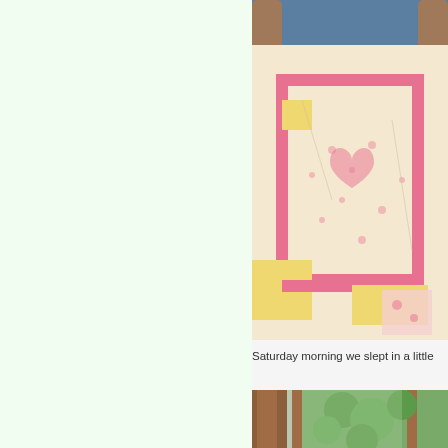[Figure (photo): Person holding a patchwork quilt with pink borders and yellow and floral fabric patches displayed on a bed]
Saturday morning we slept in a little
[Figure (photo): Partial view of a wooden door frame with green foliage visible through a window]